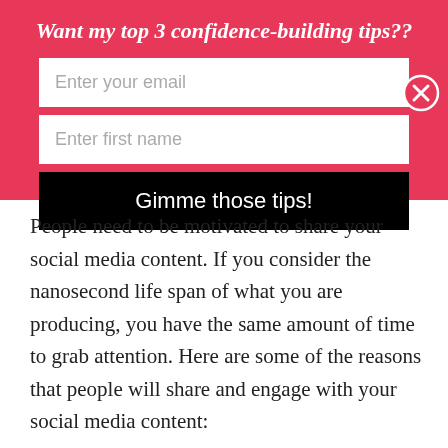Want my top 3 confidence-building tips??
Enter your email
Enter first name
Gimme those tips!
People need to be motivated to share your social media content. If you consider the nanosecond life span of what you are producing, you have the same amount of time to grab attention. Here are some of the reasons that people will share and engage with your social media content: